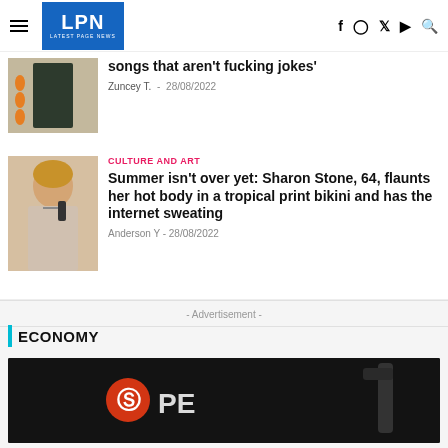LPN LATEST PAGE NEWS
songs that aren't fucking jokes'
Zuncey T. · 28/08/2022
CULTURE AND ART
Summer isn't over yet: Sharon Stone, 64, flaunts her hot body in a tropical print bikini and has the internet sweating
Anderson Y · 28/08/2022
- Advertisement -
ECONOMY
[Figure (photo): Peloton bike close-up with logo]